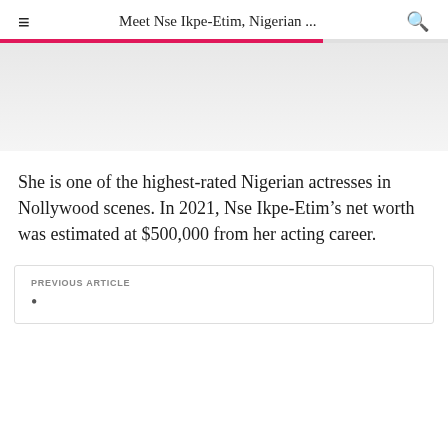Meet Nse Ikpe-Etim, Nigerian ...
[Figure (photo): Partial image of Nse Ikpe-Etim, mostly obscured by gradient, appearing at top of article]
She is one of the highest-rated Nigerian actresses in Nollywood scenes. In 2021, Nse Ikpe-Etim’s net worth was estimated at $500,000 from her acting career.
PREVIOUS ARTICLE